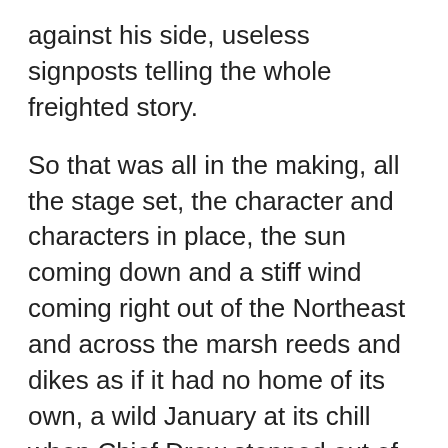against his side, useless signposts telling the whole freighted story.
So that was all in the making, all the stage set, the character and characters in place, the sun coming down and a stiff wind coming right out of the Northeast and across the marsh reeds and dikes as if it had no home of its own, a wild January at its chill when Chief Drew stepped out of his old Packard coupe, the big black behemoth with the futuristic chrome grille and the hood as long as a canal, and started the walk up the long driveway to Milan Liskart's side door. The huge and cumbersome Reo sat